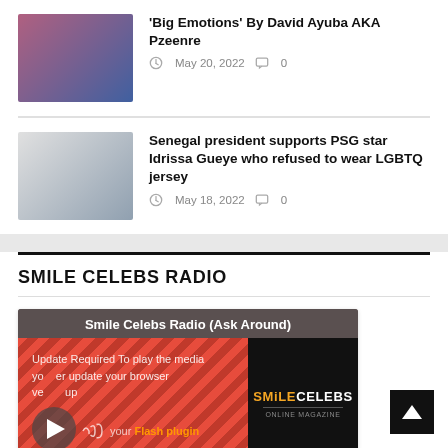'Big Emotions' By David Ayuba AKA Pzeenre
May 20, 2022   0
Senegal president supports PSG star Idrissa Gueye who refused to wear LGBTQ jersey
May 18, 2022   0
SMILE CELEBS RADIO
[Figure (screenshot): Smile Celebs Radio (Ask Around) media player with orange striped background, play button, update required message, Flash plugin notice, SmileCelebs logo on right panel, and Radiosan footer]
Powered by Radiosan